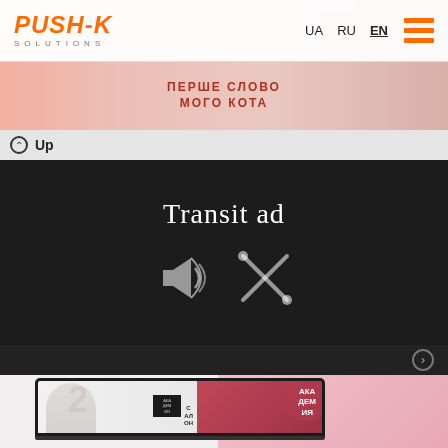[Figure (screenshot): PUSH-K Solutions website screenshot showing navigation bar with logo, UA/RU/EN language switcher, hamburger menu icon, and colorful background imagery]
[Figure (screenshot): Up navigation button on light gray bar]
Transit ad
[Figure (illustration): Dark panel with megaphone and pencil/arrow icons representing transit advertising]
[Figure (screenshot): Laptop mockup showing a beauty/makeup website with Ukrainian text АКА ДЕМ ИЯ and С АЛ ОН]